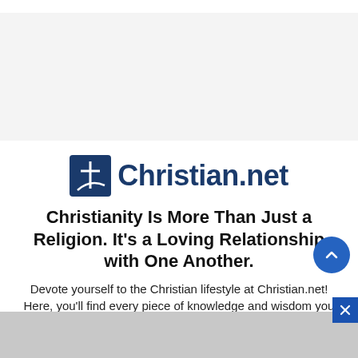[Figure (logo): Christian.net logo with blue square icon showing a cross and arc, followed by the text 'Christian.net' in bold dark blue]
Christianity Is More Than Just a Religion. It's a Loving Relationship with One Another.
Devote yourself to the Christian lifestyle at Christian.net! Here, you'll find every piece of knowledge and wisdom you need every single day.